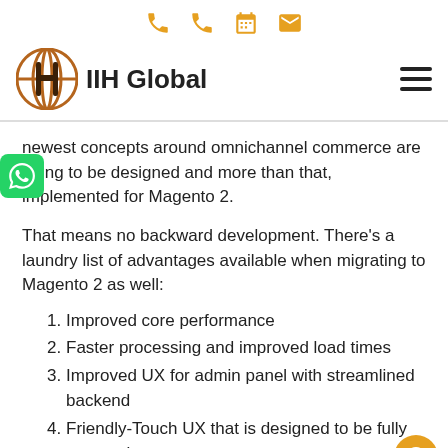[icons: phone, phone, calendar, email]
[Figure (logo): IIH Global logo with stylized globe icon and bold text 'IIH Global', hamburger menu icon on the right]
newest concepts around omnichannel commerce are going to be designed and more than that, implemented for Magento 2.
That means no backward development. There's a laundry list of advantages available when migrating to Magento 2 as well:
Improved core performance
Faster processing and improved load times
Improved UX for admin panel with streamlined backend
Friendly-Touch UX that is designed to be fully responsive